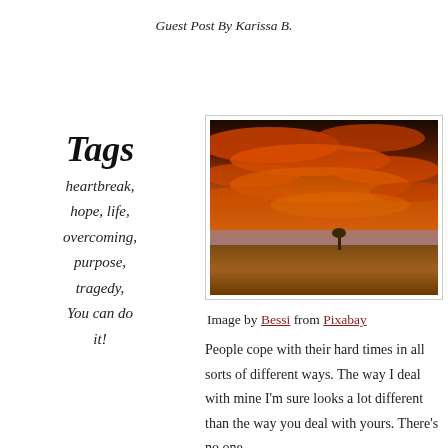Guest Post By Karissa B.
Tags
heartbreak, hope, life, overcoming, purpose, tragedy, You can do it!
[Figure (photo): A dramatic sunset landscape with vivid orange and red clouds over a flat field with a single lone tree on the horizon.]
Image by Bessi from Pixabay
People cope with their hard times in all sorts of different ways. The way I deal with mine I'm sure looks a lot different than the way you deal with yours. There's no one